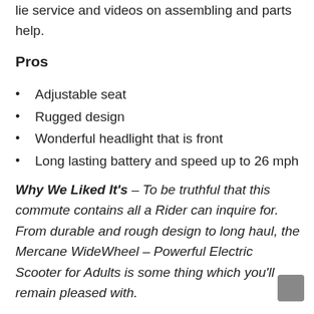lie service and videos on assembling and parts help.
Pros
Adjustable seat
Rugged design
Wonderful headlight that is front
Long lasting battery and speed up to 26 mph
Why We Liked It's – To be truthful that this commute contains all a Rider can inquire for. From durable and rough design to long haul, the Mercane WideWheel – Powerful Electric Scooter for Adults is some thing which you'll remain pleased with.